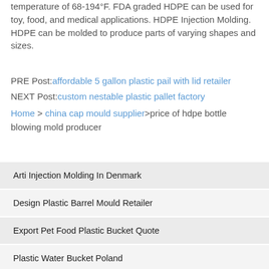temperature of 68-194°F. FDA graded HDPE can be used for toy, food, and medical applications. HDPE Injection Molding. HDPE can be molded to produce parts of varying shapes and sizes.
PRE Post: affordable 5 gallon plastic pail with lid retailer
NEXT Post: custom nestable plastic pallet factory
Home > china cap mould supplier > price of hdpe bottle blowing mold producer
Arti Injection Molding In Denmark
Design Plastic Barrel Mould Retailer
Export Pet Food Plastic Bucket Quote
Plastic Water Bucket Poland